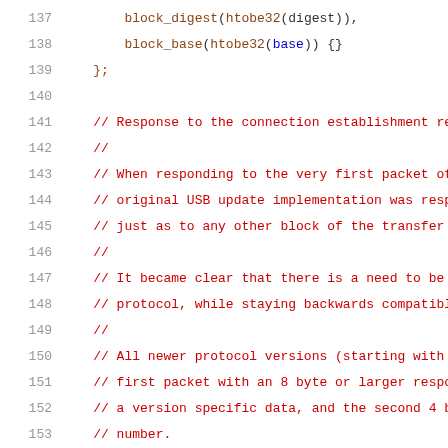Source code listing, lines 137-157, showing C++ code with comments about connection establishment response and protocol versioning.